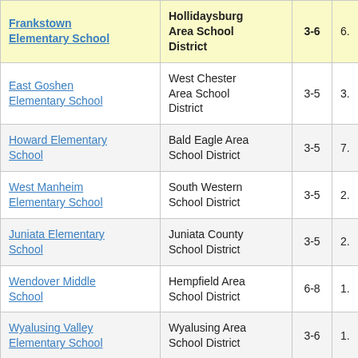| School | District | Grades |  |
| --- | --- | --- | --- |
| Frankstown Elementary School | Hollidaysburg Area School District | 3-6 | 6. |
| East Goshen Elementary School | West Chester Area School District | 3-5 | 3. |
| Howard Elementary School | Bald Eagle Area School District | 3-5 | 7. |
| West Manheim Elementary School | South Western School District | 3-5 | 2. |
| Juniata Elementary School | Juniata County School District | 3-5 | 2. |
| Wendover Middle School | Hempfield Area School District | 6-8 | 1. |
| Wyalusing Valley Elementary School | Wyalusing Area School District | 3-6 | 1. |
| Meyersdale Area Elementary School | Meyersdale Area School District | 3-5 | 3. |